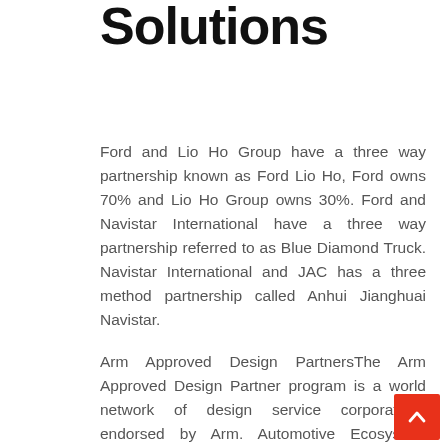Solutions
Ford and Lio Ho Group have a three way partnership known as Ford Lio Ho, Ford owns 70% and Lio Ho Group owns 30%. Ford and Navistar International have a three way partnership referred to as Blue Diamond Truck. Navistar International and JAC has a three method partnership called Anhui Jianghuai Navistar.
Arm Approved Design PartnersThe Arm Approved Design Partner program is a world network of design service corporations endorsed by Arm. Automotive Ecosystem CatalogThe Arm Automotive Ecosystem connects you to the proper partners, enabling you to build the next technology of environment friendly, scalable autonomous solutions. Search our ecosystem of partners for the next era Arm-based solutions.